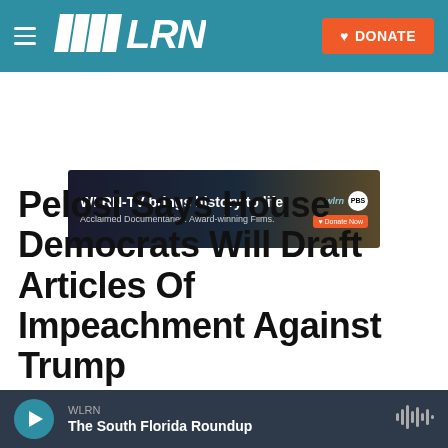WLRN — DONATE
[Figure (screenshot): WLRN-TV advertisement banner: 'WLRN-TV brings history to life. Acclaimed Documentaries. Award-winning Films.' with WLRN logo, PBS logo, and Donate Now button on dark background.]
Pelosi Says House Democrats Will Draft Articles Of Impeachment Against Trump
By Brian Naylor,
[Figure (screenshot): Audio player bar showing WLRN, The South Florida Roundup with play button and audio waveform icon]